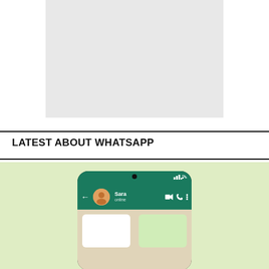[Figure (other): Light gray placeholder rectangle representing an image area]
LATEST ABOUT WHATSAPP
[Figure (screenshot): WhatsApp chat interface screenshot on a smartphone against a light green background. Shows a chat with contact 'Sara' who is 'online', with green header bar, back arrow, avatar, and icons for video call, phone, and menu.]